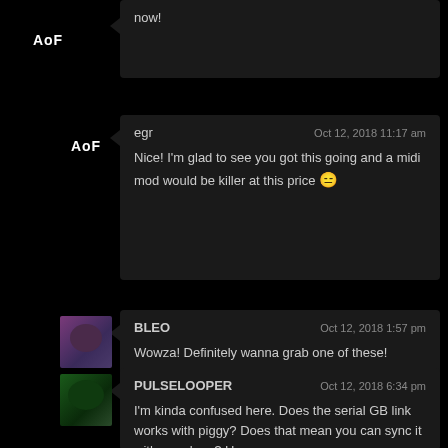now!
egr — Oct 12, 2018 11:17 am
Nice! I'm glad to see you got this going and a midi mod would be killer at this price 😐
BLEO — Oct 12, 2018 1:57 pm
Wowza! Definitely wanna grab one of these!
PULSELOOPER — Oct 12, 2018 6:34 pm
I'm kinda confused here. Does the serial GB link works with piggy? Does that mean you can sync it with nanoloop? Has my